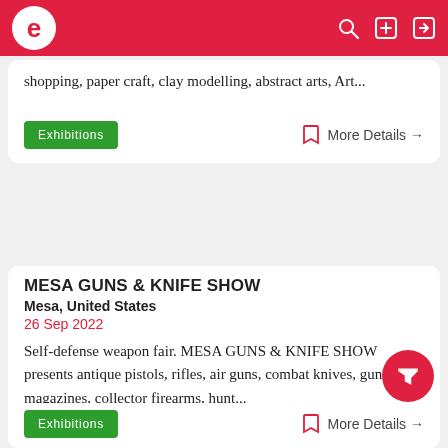[Figure (screenshot): App navigation bar with red background, white circular logo with letter 'e', and three white icons (search, plus/add, login) on the right]
shopping, paper craft, clay modelling, abstract arts, Art...
Exhibitions   More Details →
MESA GUNS & KNIFE SHOW
Mesa, United States
26 Sep 2022
Self-defense weapon fair. MESA GUNS & KNIFE SHOW presents antique pistols, rifles, air guns, combat knives, gun magazines, collector firearms, hunt...
Exhibitions   More Details →